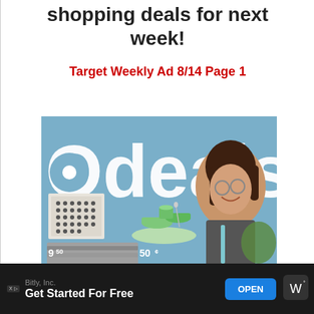shopping deals for next week!
Target Weekly Ad 8/14 Page 1
[Figure (photo): Target weekly ad cover page showing large white 'Odeals' text on a blue background, with a smiling woman wearing glasses, green dinnerware set priced at 50¢, a patterned item priced at 9.50, and gray folded sheets at the bottom.]
Bitly, Inc. Get Started For Free OPEN